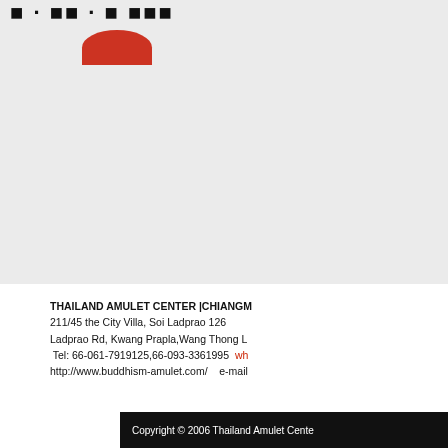[Figure (photo): Product image area with a partial red circular object visible at top, on a light gray background. The top-left corner shows partial black bold text/logo partially cropped.]
THAILAND AMULET CENTER |CHIANGMAI 211/45 the City Villa, Soi Ladprao 126 Ladprao Rd, Kwang Prapla,Wang Thong L Tel: 66-061-7919125,66-093-3361995  wh http://www.buddhism-amulet.com/   e-mail
Copyright © 2006 Thailand Amulet Center